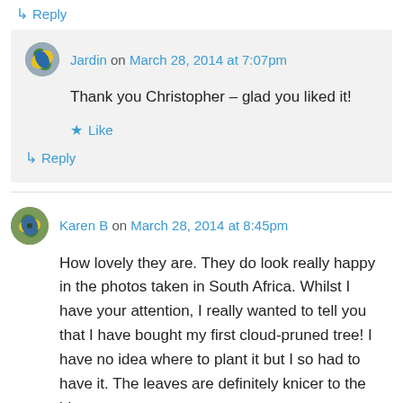↳ Reply
Jardin on March 28, 2014 at 7:07pm
Thank you Christopher – glad you liked it!
★ Like
↳ Reply
Karen B on March 28, 2014 at 8:45pm
How lovely they are. They do look really happy in the photos taken in South Africa. Whilst I have your attention, I really wanted to tell you that I have bought my first cloud-pruned tree! I have no idea where to plant it but I so had to have it. The leaves are definitely knicer to the ide...